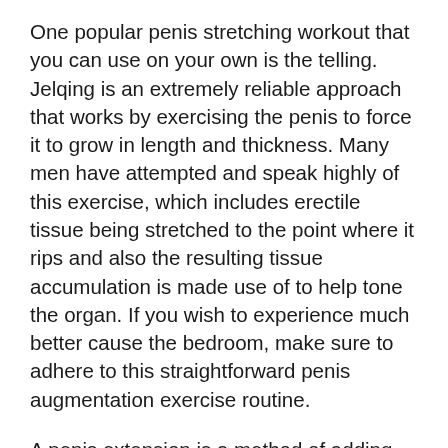One popular penis stretching workout that you can use on your own is the telling. Jelqing is an extremely reliable approach that works by exercising the penis to force it to grow in length and thickness. Many men have attempted and speak highly of this exercise, which includes erectile tissue being stretched to the point where it rips and also the resulting tissue accumulation is made use of to help tone the organ. If you wish to experience much better cause the bedroom, make sure to adhere to this straightforward penis augmentation exercise routine.
A penis extension is a method of adding length to your penis that involves using an extender (a.k.a. dick ring, extender brace, or traction device) held between you and your